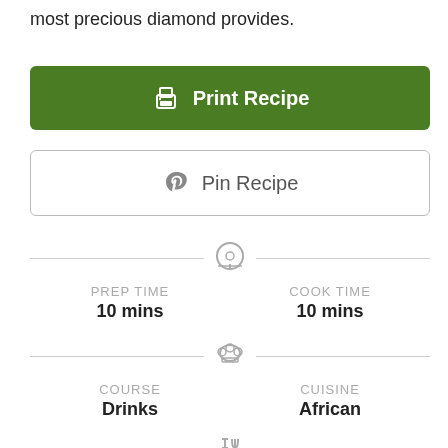most precious diamond provides.
[Figure (other): Green 'Print Recipe' button with printer icon]
[Figure (other): White 'Pin Recipe' button with Pinterest P icon]
PREP TIME
10 mins
COOK TIME
10 mins
COURSE
Drinks
CUISINE
African
SERVINGS